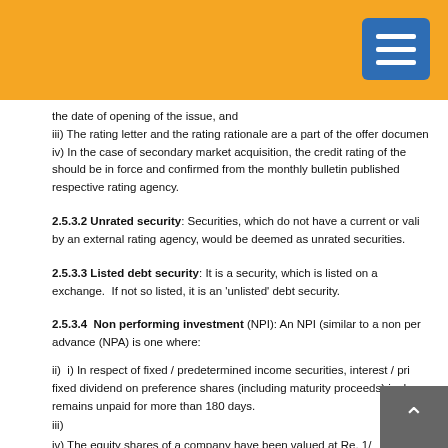the date of opening of the issue, and
iii) The rating letter and the rating rationale are a part of the offer document
iv) In the case of secondary market acquisition, the credit rating of the should be in force and confirmed from the monthly bulletin published respective rating agency.
2.5.3.2 Unrated security: Securities, which do not have a current or valid by an external rating agency, would be deemed as unrated securities.
2.5.3.3 Listed debt security: It is a security, which is listed on a exchange. If not so listed, it is an 'unlisted' debt security.
2.5.3.4 Non performing investment (NPI): An NPI (similar to a non perf advance (NPA) is one where:
ii) i) In respect of fixed / predetermined income securities, interest / pri fixed dividend on preference shares (including maturity proceeds) is d remains unpaid for more than 180 days.
iii)
iv) The equity shares of a company have been valued at Re. 1/ o on account of the non-availability of the latest balance she p instructions contained in para 26 of the Annexure to circular DBS FI